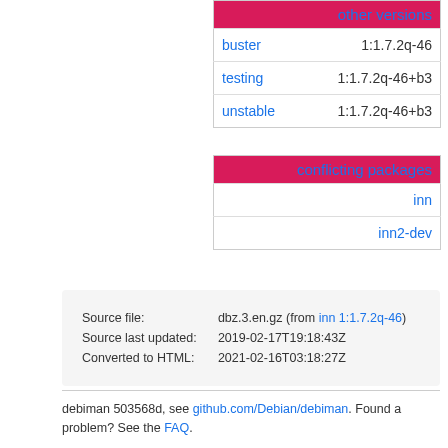| other versions |  |
| --- | --- |
| buster | 1:1.7.2q-46 |
| testing | 1:1.7.2q-46+b3 |
| unstable | 1:1.7.2q-46+b3 |
| conflicting packages |
| --- |
| inn |
| inn2-dev |
| Source file: | dbz.3.en.gz (from inn 1:1.7.2q-46) |
| Source last updated: | 2019-02-17T19:18:43Z |
| Converted to HTML: | 2021-02-16T03:18:27Z |
debiman 503568d, see github.com/Debian/debiman. Found a problem? See the FAQ.